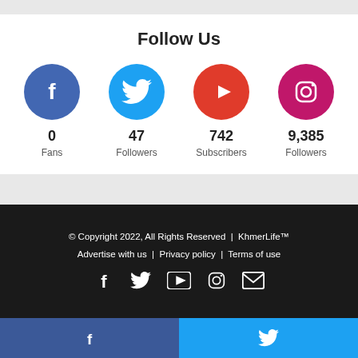Follow Us
[Figure (infographic): Social media follow counts: Facebook 0 Fans, Twitter 47 Followers, YouTube 742 Subscribers, Instagram 9,385 Followers]
© Copyright 2022, All Rights Reserved | KhmerLife™
Advertise with us | Privacy policy | Terms of use
[Figure (infographic): Footer social media icons: Facebook, Twitter, YouTube, Instagram, Email]
[Figure (infographic): Bottom bar with Facebook and Twitter icons in blue bars]